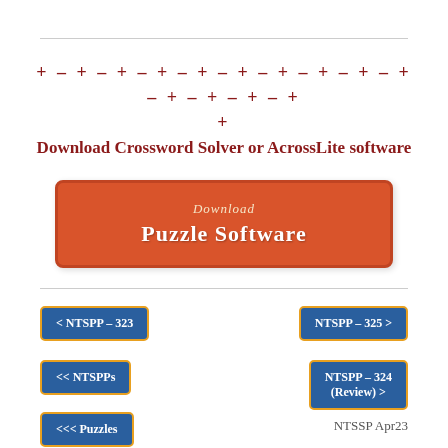[Figure (other): Decorative red dashed/plus pattern border]
Download Crossword Solver or AcrossLite software
[Figure (other): Orange download button labeled 'Download Puzzle Software']
< NTSPP - 323
NTSPP - 325 >
<< NTSPPs
NTSPP - 324 (Review) >
<<< Puzzles
NTSSP Apr23